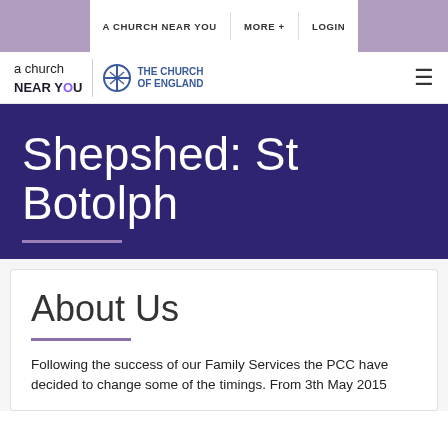A CHURCH NEAR YOU   MORE +   LOGIN
[Figure (logo): a church NEAR YOU logo with Church of England cross logo]
Shepshed: St Botolph
About Us
Following the success of our Family Services the PCC have decided to change some of the timings. From 3th May 2015